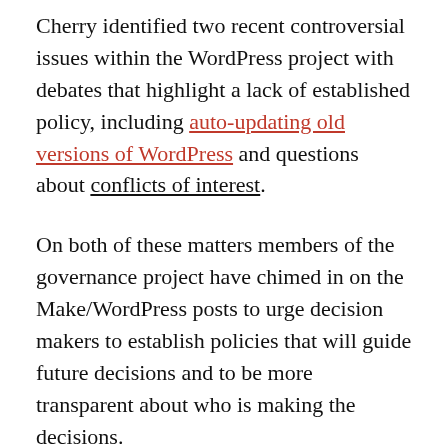Cherry identified two recent controversial issues within the WordPress project with debates that highlight a lack of established policy, including auto-updating old versions of WordPress and questions about conflicts of interest.
On both of these matters members of the governance project have chimed in on the Make/WordPress posts to urge decision makers to establish policies that will guide future decisions and to be more transparent about who is making the decisions.
Rand-Hendriksen asked questions about how and where the decision will be made regarding auto-